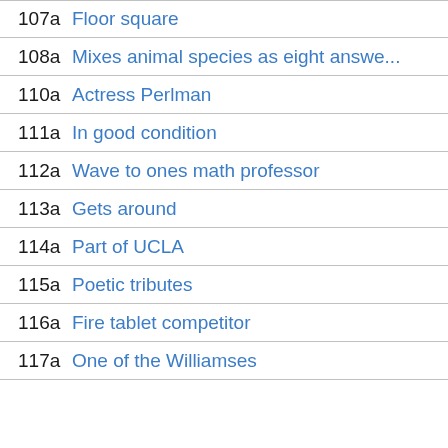107a Floor square
108a Mixes animal species as eight answe...
110a Actress Perlman
111a In good condition
112a Wave to ones math professor
113a Gets around
114a Part of UCLA
115a Poetic tributes
116a Fire tablet competitor
117a One of the Williamses